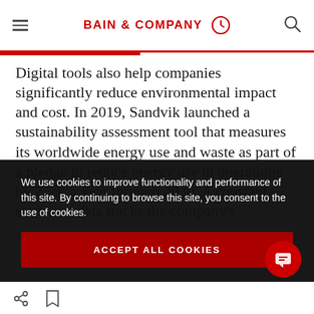BAIN & COMPANY
Digital tools also help companies significantly reduce environmental impact and cost. In 2019, Sandvik launched a sustainability assessment tool that measures its worldwide energy use and waste as part of a pledge to reduce energy use in operations by 2.5% a year through 2030. A constant stream of data tracks the company's
We use cookies to improve functionality and performance of this site. By continuing to browse this site, you consent to the use of cookies.
ACCEPT ALL COOKIES